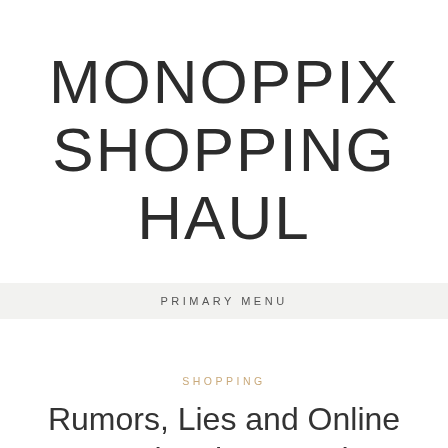MONOPPIX SHOPPING HAUL
PRIMARY MENU
SHOPPING
Rumors, Lies and Online Marketplace Haul